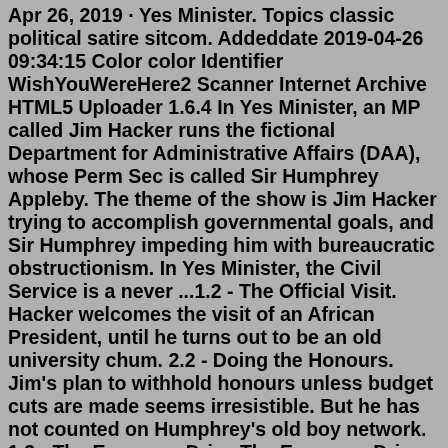Apr 26, 2019 · Yes Minister. Topics classic political satire sitcom. Addeddate 2019-04-26 09:34:15 Color color Identifier WishYouWereHere2 Scanner Internet Archive HTML5 Uploader 1.6.4 In Yes Minister, an MP called Jim Hacker runs the fictional Department for Administrative Affairs (DAA), whose Perm Sec is called Sir Humphrey Appleby. The theme of the show is Jim Hacker trying to accomplish governmental goals, and Sir Humphrey impeding him with bureaucratic obstructionism. In Yes Minister, the Civil Service is a never ...1.2 - The Official Visit. Hacker welcomes the visit of an African President, until he turns out to be an old university chum. 2.2 - Doing the Honours. Jim's plan to withhold honours unless budget cuts are made seems irresistible. But he has not counted on Humphrey's old boy network. 1.3 - The Economy Drive.The Economy Drive: Directed by Sydney Lotterby. With Paul Eddington, Nigel Hawthorne, Derek Fowlds, John Savident. The Minister decides there is far too much waste in government and decides the time has come to launch